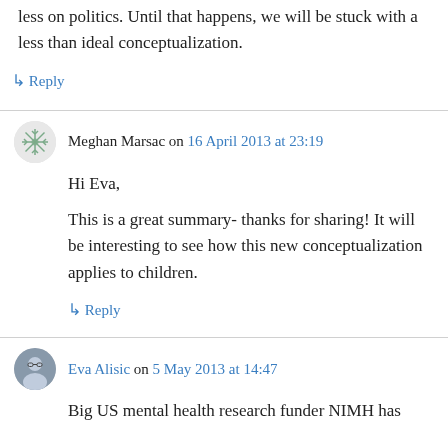less on politics. Until that happens, we will be stuck with a less than ideal conceptualization.
↳ Reply
Meghan Marsac on 16 April 2013 at 23:19
Hi Eva,
This is a great summary- thanks for sharing! It will be interesting to see how this new conceptualization applies to children.
↳ Reply
Eva Alisic on 5 May 2013 at 14:47
Big US mental health research funder NIMH has